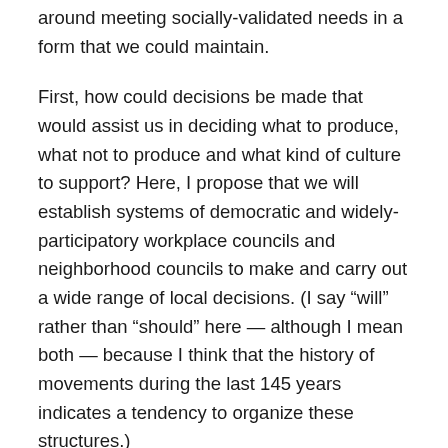around meeting socially-validated needs in a form that we could maintain.
First, how could decisions be made that would assist us in deciding what to produce, what not to produce and what kind of culture to support? Here, I propose that we will establish systems of democratic and widely-participatory workplace councils and neighborhood councils to make and carry out a wide range of local decisions. (I say “will” rather than “should” here — although I mean both — because I think that the history of movements during the last 145 years indicates a tendency to organize these structures.)
We will need to establish higher-level democratic councils as well, and probably go through many disputes over what layer of councils will have the final say over what kinds of